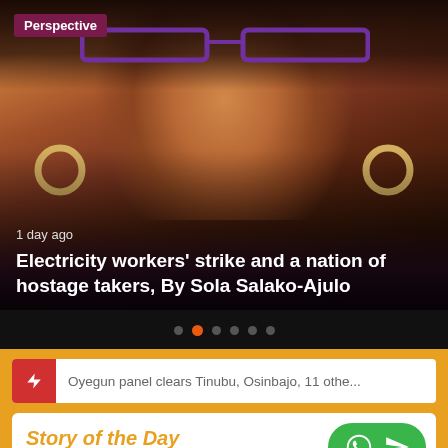[Figure (photo): Close-up photo of a woman wearing purple-framed glasses and hoop earrings, with warm brown tones, overlaid with article headline text]
Perspective
1 day ago
Electricity workers' strike and a nation of hostage takers, By Sola Salako-Ajulo
Oyegun panel clears Tinubu, Osinbajo, 11 othe...
Story of the Day